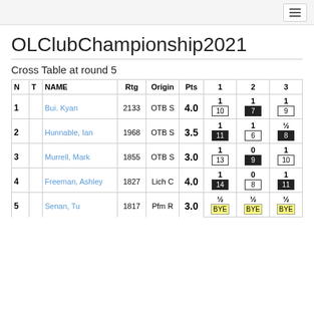OLClubChampionship2021
Cross Table at round 5
| N | T | NAME | Rtg | Origin | Pts | 1 | 2 | 3 |
| --- | --- | --- | --- | --- | --- | --- | --- | --- |
| 1 |  | Bui. Kyan | 2133 | OTB S | 4.0 | 1 10 | 1 7 | 1 9 |
| 2 |  | Hunnable, Ian | 1968 | OTB S | 3.5 | 1 11 | 1 6 | ½ 8 |
| 3 |  | Murrell, Mark | 1855 | OTB S | 3.0 | 1 13 | 0 9 | 1 10 |
| 4 |  | Freeman, Ashley | 1827 | Lich C | 4.0 | 1 14 | 0 8 | 1 11 |
| 5 |  | Senan, Tu | 1817 | Pfm R | 3.0 | ½ BYE | ½ BYE | ½ BYE |